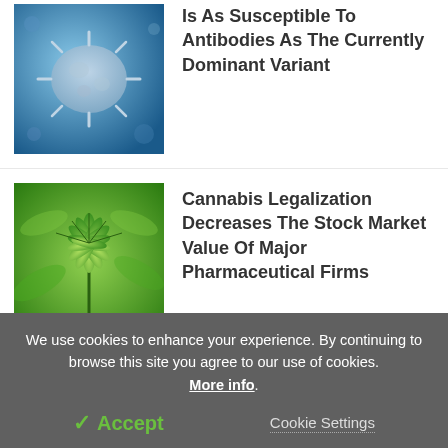Is As Susceptible To Antibodies As The Currently Dominant Variant
[Figure (photo): Microscopic image of a virus or antibody structure, blue tones with crystalline/molecular shapes]
Cannabis Legalization Decreases The Stock Market Value Of Major Pharmaceutical Firms
[Figure (photo): Close-up photo of cannabis plant leaves, bright green]
Motion Of DNA Linked To Its Damage Response, Ability To Repair Itself
[Figure (photo): 3D illustration of a DNA double helix structure, metallic/dark tones on light background]
We use cookies to enhance your experience. By continuing to browse this site you agree to our use of cookies. More info.